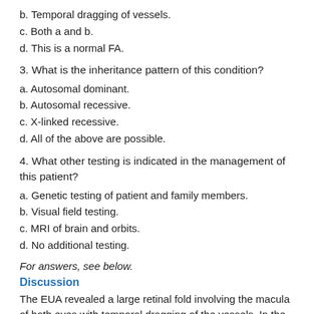b. Temporal dragging of vessels.
c. Both a and b.
d. This is a normal FA.
3. What is the inheritance pattern of this condition?
a. Autosomal dominant.
b. Autosomal recessive.
c. X-linked recessive.
d. All of the above are possible.
4. What other testing is indicated in the management of this patient?
a. Genetic testing of patient and family members.
b. Visual field testing.
c. MRI of brain and orbits.
d. No additional testing.
For answers, see below.
Discussion
The EUA revealed a large retinal fold involving the macula of both eyes with temporal dragging of the vessels. In the